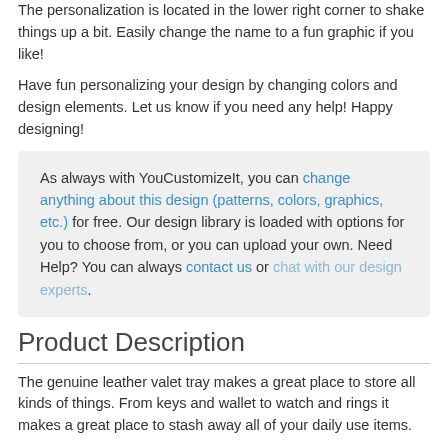The personalization is located in the lower right corner to shake things up a bit. Easily change the name to a fun graphic if you like!
Have fun personalizing your design by changing colors and design elements. Let us know if you need any help! Happy designing!
As always with YouCustomizeIt, you can change anything about this design (patterns, colors, graphics, etc.) for free. Our design library is loaded with options for you to choose from, or you can upload your own. Need Help? You can always contact us or chat with our design experts.
Product Description
The genuine leather valet tray makes a great place to store all kinds of things. From keys and wallet to watch and rings it makes a great place to stash away all of your daily use items.
Available in one size (approximately 5.5" x 5.5" base), the